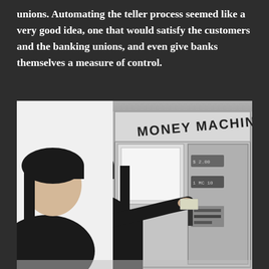unions. Automating the teller process seemed like a very good idea, one that would satisfy the customers and the banking unions, and even give banks themselves a measure of control.
[Figure (photo): Black and white photograph of a woman with bangs and long dark hair using an early ATM labeled 'MONEY MACHINE'. She is smiling and inserting a card into the machine.]